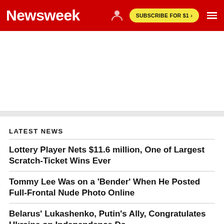Newsweek | SUBSCRIBE FOR $1 >
[Figure (other): Advertisement placeholder area (white/light gray blank ad space)]
LATEST NEWS
Lottery Player Nets $11.6 million, One of Largest Scratch-Ticket Wins Ever
Tommy Lee Was on a 'Bender' When He Posted Full-Frontal Nude Photo Online
Belarus' Lukashenko, Putin's Ally, Congratulates Ukraine on Independence Da